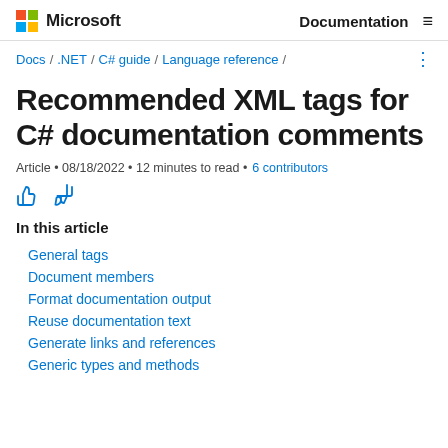Microsoft  Documentation
Docs / .NET / C# guide / Language reference /
Recommended XML tags for C# documentation comments
Article • 08/18/2022 • 12 minutes to read • 6 contributors
[Figure (illustration): Thumbs up and thumbs down feedback icons]
In this article
General tags
Document members
Format documentation output
Reuse documentation text
Generate links and references
Generic types and methods